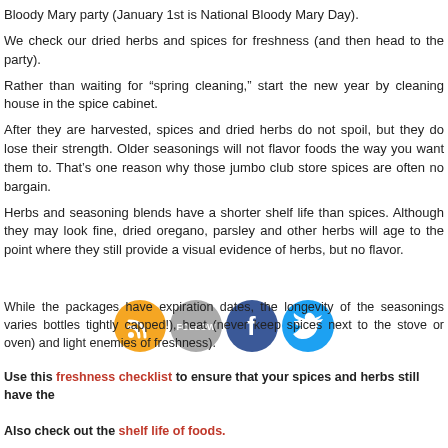Bloody Mary party (January 1st is National Bloody Mary Day).
We check our dried herbs and spices for freshness (and then head to the party).
Rather than waiting for “spring cleaning,” start the new year by cleaning house in the spice cabinet.
After they are harvested, spices and dried herbs do not spoil, but they do lose their strength. Older seasonings will not flavor foods the way you want them to. That’s one reason why those jumbo club store spices are often no bargain.
Herbs and seasoning blends have a shorter shelf life than spices. Although they may look fine, dried oregano, parsley and other herbs will age to the point where they still provide a visual evidence of herbs, but no flavor.
[Figure (infographic): Social media follow icons: RSS (orange), Follow (grey), Facebook (blue), Twitter (blue)]
While the packages have expiration dates, the longevity of the seasonings varies bottles tightly capped!), heat (never keep spices next to the stove or oven) and light enemies of freshness).
Use this freshness checklist to ensure that your spices and herbs still have the
Also check out the shelf life of foods.